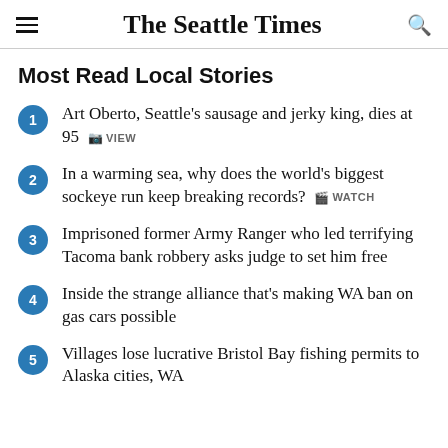The Seattle Times
Most Read Local Stories
Art Oberto, Seattle's sausage and jerky king, dies at 95  VIEW
In a warming sea, why does the world's biggest sockeye run keep breaking records?  WATCH
Imprisoned former Army Ranger who led terrifying Tacoma bank robbery asks judge to set him free
Inside the strange alliance that's making WA ban on gas cars possible
Villages lose lucrative Bristol Bay fishing permits to Alaska cities, WA